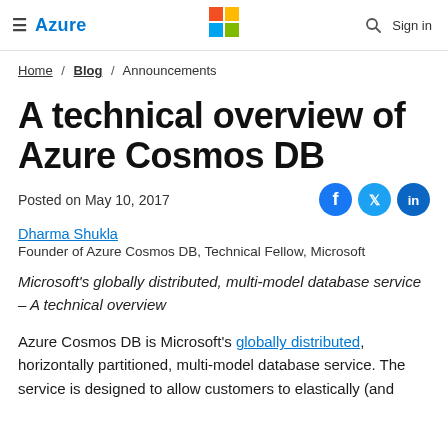Azure — Sign in
Home / Blog / Announcements
A technical overview of Azure Cosmos DB
Posted on May 10, 2017
Dharma Shukla
Founder of Azure Cosmos DB, Technical Fellow, Microsoft
Microsoft's globally distributed, multi-model database service – A technical overview
Azure Cosmos DB is Microsoft's globally distributed, horizontally partitioned, multi-model database service. The service is designed to allow customers to elastically (and